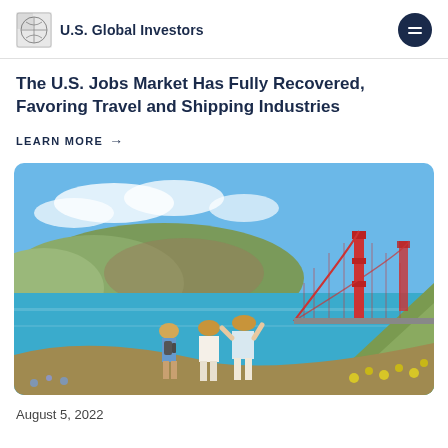U.S. Global Investors
The U.S. Jobs Market Has Fully Recovered, Favoring Travel and Shipping Industries
LEARN MORE →
[Figure (photo): Three tourists with hats standing on a hillside overlooking the Golden Gate Bridge in San Francisco, with blue water, green hills, and yellow wildflowers visible]
August 5, 2022